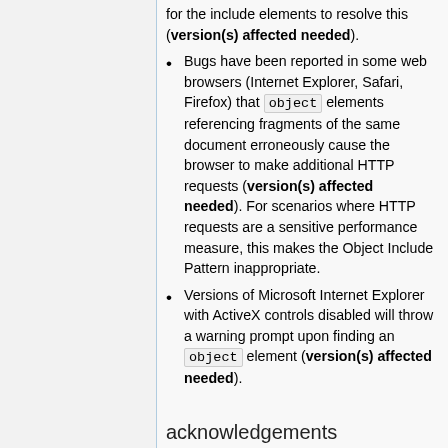for the include elements to resolve this (version(s) affected needed).
Bugs have been reported in some web browsers (Internet Explorer, Safari, Firefox) that object elements referencing fragments of the same document erroneously cause the browser to make additional HTTP requests (version(s) affected needed). For scenarios where HTTP requests are a sensitive performance measure, this makes the Object Include Pattern inappropriate.
Versions of Microsoft Internet Explorer with ActiveX controls disabled will throw a warning prompt upon finding an object element (version(s) affected needed).
acknowledgements